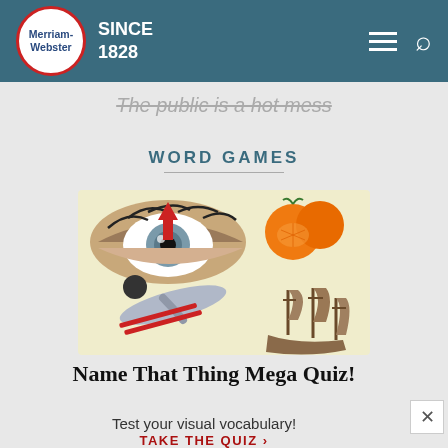Merriam-Webster SINCE 1828
The public is a hot mess
WORD GAMES
[Figure (illustration): Collage illustration showing a close-up eye with a red downward arrow, orange kumquat fruits, a ski jumper in silver suit, and a wooden sailing junk boat, all on a light yellow background]
Name That Thing Mega Quiz!
Test your visual vocabulary!
TAKE THE QUIZ ›